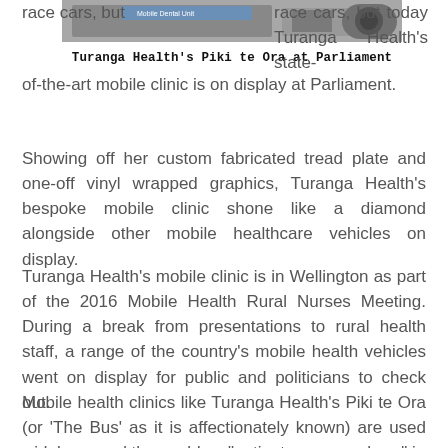[Figure (photo): Turanga Health's Piki te Ora mobile clinic van displayed at Parliament, showing blue Mobile Dental Unit signage.]
Turanga Health's Piki te Ora at Parliament
race cars, but today Turanga Health's state-of-the-art mobile clinic is on display at Parliament.
Showing off her custom fabricated tread plate and one-off vinyl wrapped graphics, Turanga Health's bespoke mobile clinic shone like a diamond alongside other mobile healthcare vehicles on display.
Turanga Health's mobile clinic is in Wellington as part of the 2016 Mobile Health Rural Nurses Meeting. During a break from presentations to rural health staff, a range of the country's mobile health vehicles went on display for public and politicians to check out.
Mobile health clinics like Turanga Health's Piki te Ora (or 'The Bus' as it is affectionately known) are used widely around the world as "patient care anywhere" is